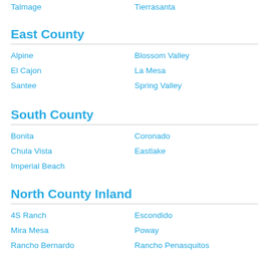Talmage
Tierrasanta
East County
Alpine
Blossom Valley
El Cajon
La Mesa
Santee
Spring Valley
South County
Bonita
Coronado
Chula Vista
Eastlake
Imperial Beach
North County Inland
4S Ranch
Escondido
Mira Mesa
Poway
Rancho Bernardo
Rancho Penasquitos